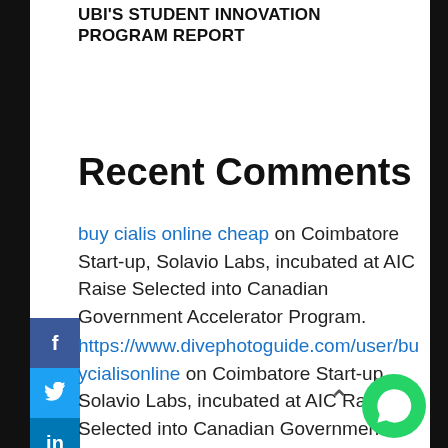UBI'S STUDENT INNOVATION PROGRAM REPORT
Recent Comments
buy cialis online cheap on Coimbatore Start-up, Solavio Labs, incubated at AIC Raise Selected into Canadian Government Accelerator Program.
https://www.divephotoguide.com/user/buycialisonline on Coimbatore Start-up, Solavio Labs, incubated at AIC Raise Selected into Canadian Government Accelerator Program.
https://my.desktopnexus.com/Buycialis/journal/cialis-without-a-doctor-prescription-38780/ on Coimbatore Start-up, Solavio Labs, incubated at AIC Raise Selected into Canadian Government